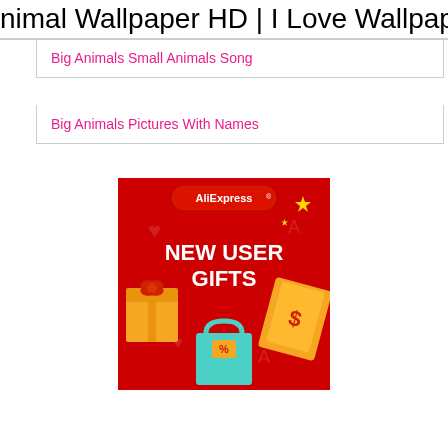nimal Wallpaper HD | I Love Wallpap
Big Animals Small Animals Song
Big Animals Pictures With Names
[Figure (illustration): AliExpress advertisement banner showing 'NEW USER GIFTS' text on a red background with gift boxes, a discount shopping bag, and a dollar coupon.]